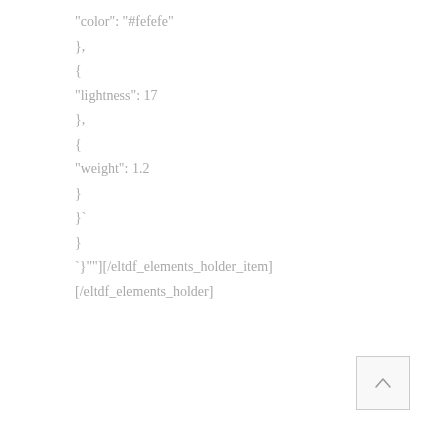"color": "#fefefe"
},
{
"lightness": 17
},
{
"weight": 1.2
}
}`
}
}`"}[/eltdf_elements_holder_item]
[/eltdf_elements_holder]
[Figure (other): A back-to-top button with an upward-pointing chevron icon, positioned in the bottom-right corner.]